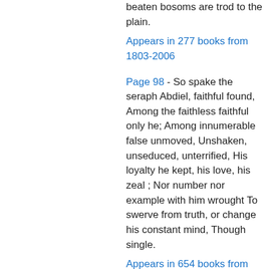beaten bosoms are trod to the plain.
Appears in 277 books from 1803-2006
Page 98 - So spake the seraph Abdiel, faithful found, Among the faithless faithful only he; Among innumerable false unmoved, Unshaken, unseduced, unterrified, His loyalty he kept, his love, his zeal ; Nor number nor example with him wrought To swerve from truth, or change his constant mind, Though single.
Appears in 654 books from 1726-2008
Page 337 - The bride